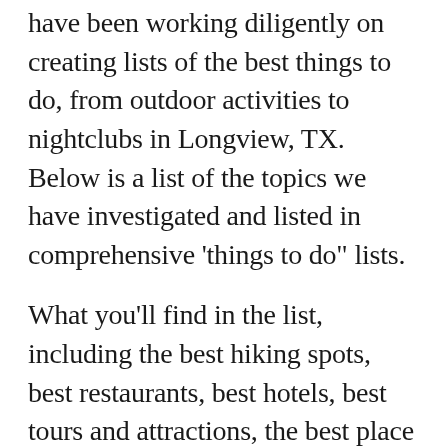have been working diligently on creating lists of the best things to do, from outdoor activities to nightclubs in Longview, TX. Below is a list of the topics we have investigated and listed in comprehensive 'things to do" lists.
What you'll find in the list, including the best hiking spots, best restaurants, best hotels, best tours and attractions, the best place for photographers, and national parks near Longview, TX, and more are being added daily.
Follow along with us so you don't miss out on any of our new Longview, TX updates and let us know how we're are doing by adding a comment below. We hope you enjoy the list.